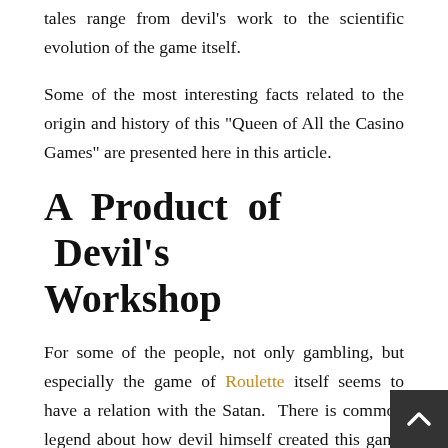tales range from devil's work to the scientific evolution of the game itself.
Some of the most interesting facts related to the origin and history of this "Queen of All the Casino Games" are presented here in this article.
A Product of Devil's Workshop
For some of the people, not only gambling, but especially the game of Roulette itself seems to have a relation with the Satan.  There is common legend about how devil himself created this game to attract men and women to his dark side.  This tale is supported by a very bizarre explanation that if we add all the numbers on the roulette wheel from 1 to 36...